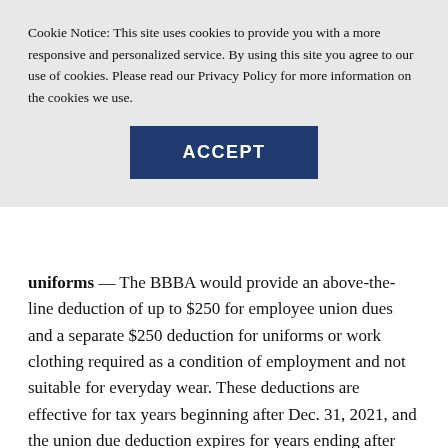Cookie Notice: This site uses cookies to provide you with a more responsive and personalized service. By using this site you agree to our use of cookies. Please read our Privacy Policy for more information on the cookies we use.
ACCEPT
uniforms — The BBBA would provide an above-the-line deduction of up to $250 for employee union dues and a separate $250 deduction for uniforms or work clothing required as a condition of employment and not suitable for everyday wear. These deductions are effective for tax years beginning after Dec. 31, 2021, and the union due deduction expires for years ending after Dec. 31, 2024, while the uniform deduction expires for years ending after Dec. 31, 2025.
Wash sales — The wash-sale rules would be expanded to include commodities, currencies, and digital assets